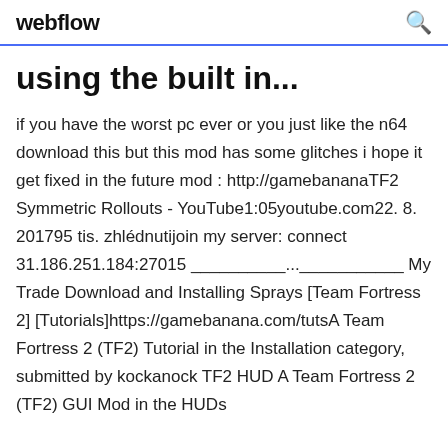webflow
using the built in...
if you have the worst pc ever or you just like the n64 download this but this mod has some glitches i hope it get fixed in the future mod : http://gamebananaTF2 Symmetric Rollouts - YouTube1:05youtube.com22. 8. 201795 tis. zhlédnutijoin my server: connect 31.186.251.184:27015 __________...___________ My Trade Download and Installing Sprays [Team Fortress 2] [Tutorials]https://gamebanana.com/tutsA Team Fortress 2 (TF2) Tutorial in the Installation category, submitted by kockanock TF2 HUD A Team Fortress 2 (TF2) GUI Mod in the HUDs